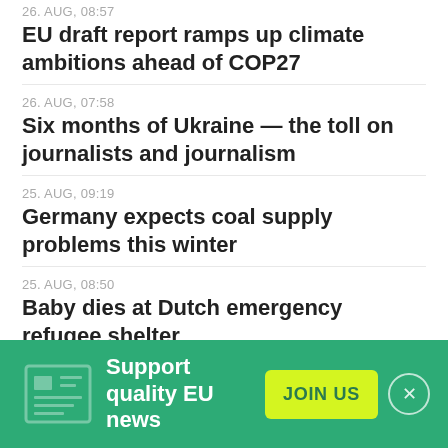26. AUG, 08:57
EU draft report ramps up climate ambitions ahead of COP27
26. AUG, 07:58
Six months of Ukraine — the toll on journalists and journalism
25. AUG, 09:19
Germany expects coal supply problems this winter
25. AUG, 08:50
Baby dies at Dutch emergency refugee shelter
25. AUG, 08:22
Does EU's post-Ukraine dash-for-gas square with green goals?
24. AUG, 09:19
Europe's drought 'may be worst in 500 years'
Support quality EU news
JOIN US